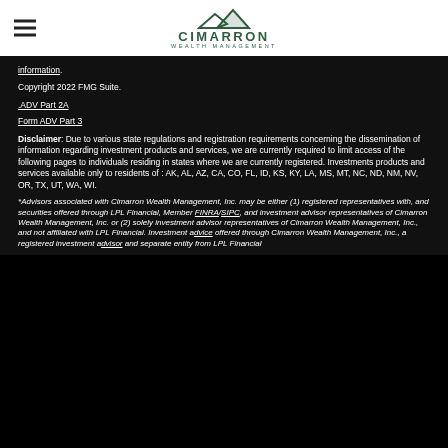[Figure (logo): Cimarron Wealth Management logo with mountain graphic and company name]
information.
Copyright 2022 FMG Suite.
.ADV Part 2A
Form ADV Part 3
Disclaimer: Due to various state regulations and registration requirements concerning the dissemination of information regarding investment products and services, we are currently required to limit access of the following pages to individuals residing in states where we are currently registered. Investments products and services available only to residents of : AK, AL, AZ, CA, CO, FL, ID, KS, KY, LA, MS, MT, NC, ND, NM, NV, OR, TX, UT, WA, WI.
*Advisors associated with Cimarron Wealth Management, Inc. may be either (1) registered representatives with, and securities offered through LPL Financial, Member FINRA/SIPC, and investment advisor representatives of Cimarron Wealth Management, Inc. or (2) solely investment advisor representatives of Cimarron Wealth Management, Inc., and not affiliated with LPL Financial. Investment advice offered through Cimarron Wealth Management, Inc., a registered investment advisor and separate entity from LPL Financial